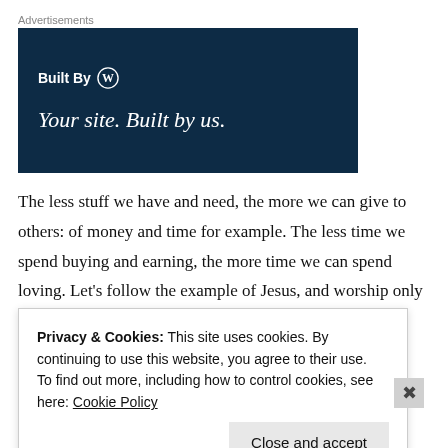[Figure (screenshot): Advertisement banner with dark navy background. Text reads 'Built By' with WordPress logo, and tagline 'Your site. Built by us.']
The less stuff we have and need, the more we can give to others: of money and time for example. The less time we spend buying and earning, the more time we can spend loving. Let's follow the example of Jesus, and worship only the Father, and seek our treasure in
Privacy & Cookies: This site uses cookies. By continuing to use this website, you agree to their use.
To find out more, including how to control cookies, see here: Cookie Policy
Made Easy